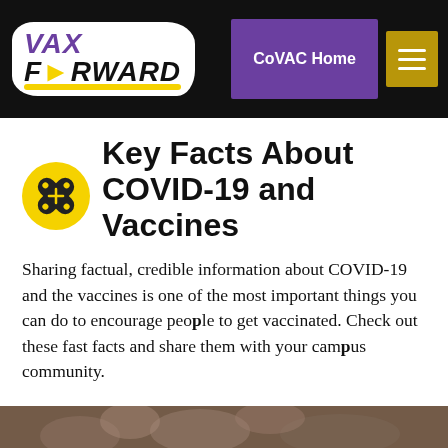Vax Forward | CoVAC Home
Key Facts About COVID-19 and Vaccines
Sharing factual, credible information about COVID-19 and the vaccines is one of the most important things you can do to encourage people to get vaccinated. Check out these fast facts and share them with your campus community.
[Figure (photo): Partial photo strip at bottom of page showing people, cropped]